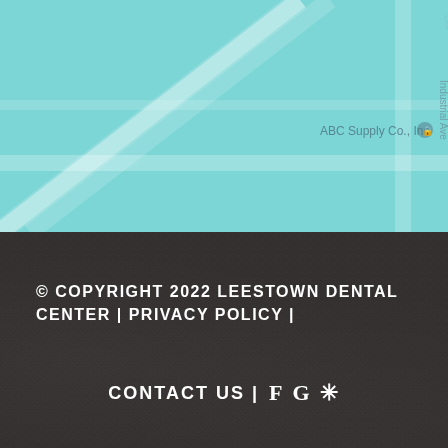[Figure (map): Aerial map view with teal/cyan background showing street layout. 'ABC Supply Co., Inc' label visible with a map pin icon. 'Industrial Ave' road label shown vertically on the right side.]
© COPYRIGHT 2022 LEESTOWN DENTAL CENTER | PRIVACY POLICY |
CONTACT US | f G ✦